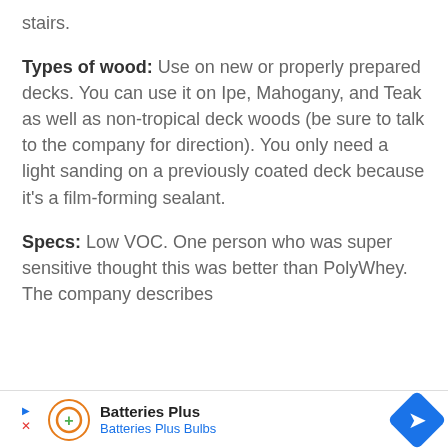stairs.
Types of wood: Use on new or properly prepared decks. You can use it on Ipe, Mahogany, and Teak as well as non-tropical deck woods (be sure to talk to the company for direction). You only need a light sanding on a previously coated deck because it's a film-forming sealant.
Specs: Low VOC. One person who was super sensitive thought this was better than PolyWhey. The company describes th
[Figure (infographic): Advertisement banner for Batteries Plus / Batteries Plus Bulbs with orange circular logo, play/close icons, and blue diamond navigation arrow]